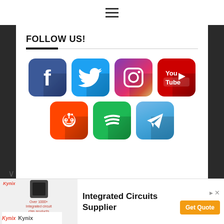☰ (hamburger menu icon)
FOLLOW US!
[Figure (illustration): Social media icons arranged in two rows: Facebook, Twitter, Instagram, YouTube (top row), Reddit, Spotify, Telegram (bottom row). Each icon is a rounded-square app icon with shadow effects.]
[Figure (infographic): Advertisement banner for Kynix Integrated Circuits Supplier. Shows chip image, text 'Over 1000+ Integrated circuit chip products are in stock and available now', headline 'Integrated Circuits Supplier', orange 'Get Quote' button, and Kynix logo.]